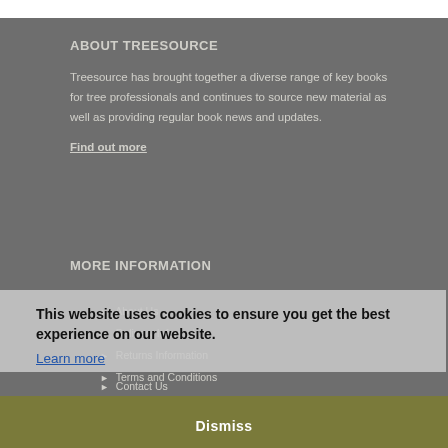ABOUT TREESOURCE
Treesource has brought together a diverse range of key books for tree professionals and continues to source new material as well as providing regular book news and updates.
Find out more
MORE INFORMATION
This website uses cookies to ensure you get the best experience on our website.
Learn more
About Us
Delivery Information
Returns Information
Terms and Conditions
Contact Us
Dismiss